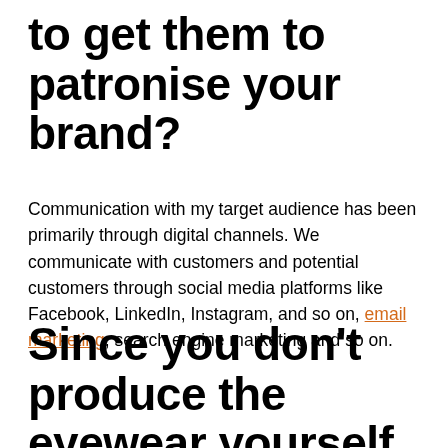to get them to patronise your brand?
Communication with my target audience has been primarily through digital channels. We communicate with customers and potential customers through social media platforms like Facebook, LinkedIn, Instagram, and so on, email marketing, search engine marketing and so on.
Since you don't produce the eyewear yourself, how do you communicate with your